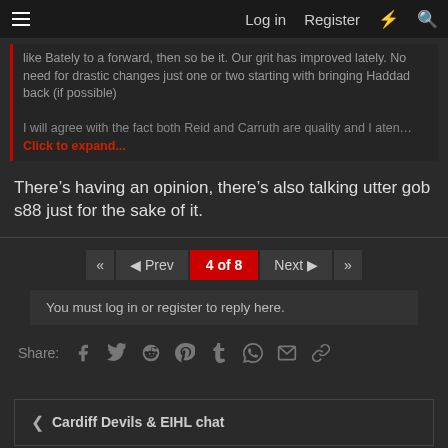Log in   Register
like Bately to a forward, then so be it. Our grit has improved lately. No need for drastic changes just one or two starting with bringing Haddad back (if possible)

I will agree with the fact both Reid and Carruth are quality and I aten… Click to expand...
There's having an opinion, there's also talking utter gob s88 just for the sake of it.
4 of 8 (pagination: Prev, Next)
You must log in or register to reply here.
Share: (social icons: Facebook, Twitter, Reddit, Pinterest, Tumblr, WhatsApp, Email, Link)
Cardiff Devils & EIHL chat
The Inferno Dark